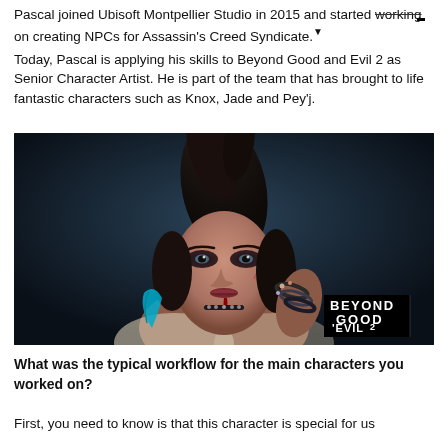Pascal joined Ubisoft Montpellier Studio in 2015 and started working on creating NPCs for Assassin's Creed Syndicate.
Today, Pascal is applying his skills to Beyond Good and Evil 2 as Senior Character Artist. He is part of the team that has brought to life fantastic characters such as Knox, Jade and Pey'j.
[Figure (photo): A 3D rendered character from Beyond Good and Evil 2 — a young woman with dark hair styled up, dramatic makeup with dark eyeshadow, face paint, wearing jewelry and a choker necklace, holding something near her face. Dark blue background. The Beyond Good Evil 2 logo appears in the bottom right corner.]
What was the typical workflow for the main characters you worked on?
First, you need to know is that this character is special for us